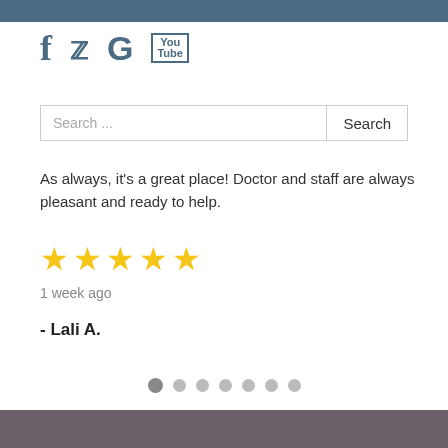[Figure (screenshot): Top blue/steel navigation bar at the top of the page]
[Figure (illustration): Social media icons: Facebook (f), Twitter (bird), Google (G), YouTube box]
Search ...
As always, it's a great place! Doctor and staff are always pleasant and ready to help.
[Figure (illustration): Five yellow star rating icons]
1 week ago
- Lali A.
[Figure (illustration): Carousel pagination dots: 7 dots, first one active/dark, rest light gray]
[Figure (illustration): Dark gray/brown footer bar at the bottom of the page]